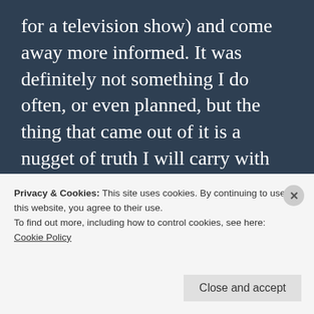for a television show) and come away more informed. It was definitely not something I do often, or even planned, but the thing that came out of it is a nugget of truth I will carry with me.
People want to speak and be heard-not just listened to.
I reflected on the various interactions I
Privacy & Cookies: This site uses cookies. By continuing to use this website, you agree to their use.
To find out more, including how to control cookies, see here:
Cookie Policy
Close and accept